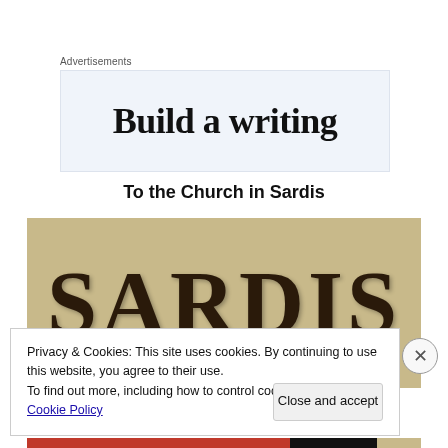Advertisements
[Figure (other): Advertisement banner showing text 'Build a writing']
To the Church in Sardis
[Figure (photo): Image showing the word SARDIS in large dark serif letters on a tan/stone textured background]
Privacy & Cookies: This site uses cookies. By continuing to use this website, you agree to their use.
To find out more, including how to control cookies, see here: Cookie Policy